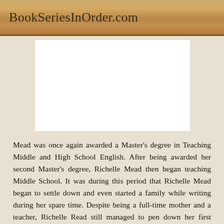BookSeriesInOrder.com
[Figure (other): White advertisement/image placeholder box]
Mead was once again awarded a Master's degree in Teaching Middle and High School English. After being awarded her second Master's degree, Richelle Mead then began teaching Middle School. It was during this period that Richelle Mead began to settle down and even started a family while writing during her spare time. Despite being a full-time mother and a teacher, Richelle Read still managed to pen down her first novel, which became an instant hit in bookstores throughout the world. Due to the success of her first book, Richelle Read became a full-time writer. She has, in turn, produced several bestselling novels. Apart from penning down novels, Richelle Mead has also been a regular contributor to several anthologies, thus making it easy for her to find several compelling works. When she is not